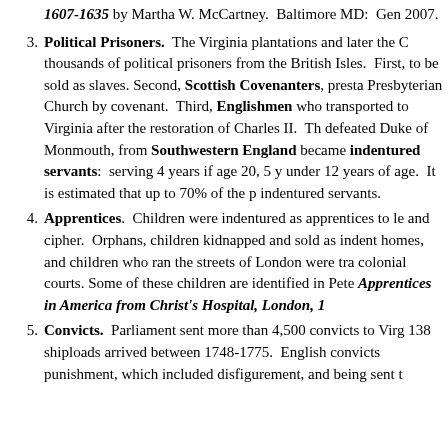1607-1635 by Martha W. McCartney. Baltimore MD: Gen 2007.
3. Political Prisoners. The Virginia plantations and later the C thousands of political prisoners from the British Isles. First, to be sold as slaves. Second, Scottish Covenanters, presta Presbyterian Church by covenant. Third, Englishmen who transported to Virginia after the restoration of Charles II. Th defeated Duke of Monmouth, from Southwestern England became indentured servants: serving 4 years if age 20, 5 y under 12 years of age. It is estimated that up to 70% of the p indentured servants.
4. Apprentices. Children were indentured as apprentices to le and cipher. Orphans, children kidnapped and sold as indent homes, and children who ran the streets of London were tra colonial courts. Some of these children are identified in Pete Apprentices in America from Christ's Hospital, London, 1
5. Convicts. Parliament sent more than 4,500 convicts to Virg 138 shiploads arrived between 1748-1775. English convicts punishment, which included disfigurement, and being sent t